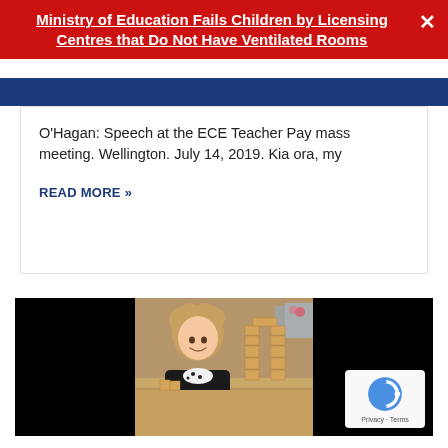Ministry of Education Fails Children by Licensing Centres that Do Not Have Ventilated Rooms
O'Hagan: Speech at the ECE Teacher Pay mass meeting. Wellington. July 14, 2019. Kia ora, my
READ MORE »
[Figure (photo): A young child with curly blonde hair smiling at a wooden block arch structure built on a table, inside what appears to be an early childhood education centre.]